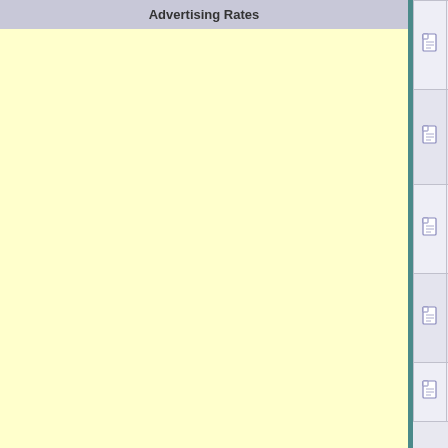Advertising Rates
|  |  | Topic | Author |
| --- | --- | --- | --- |
| [page icon] | [tag icon] | Heading to the Classic! | djkimmel |
| [page icon] | [tag icon] | Two GreatLakesBass.com members in Top 10! | djkimmel |
| [page icon] | [tag icon] | Bassmaster Classic LIVE VIDEO | djkimmel |
| [page icon] | [tag icon] | Bassmaster Classic Fantasy Fishing 2015 | UAWBigDog |
| [page icon] | [tag icon] | classic tv coverage | dartag |